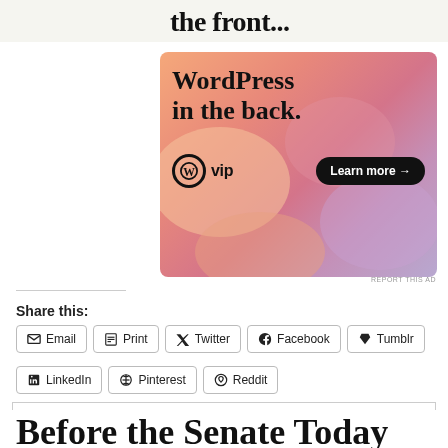[Figure (illustration): WordPress VIP advertisement banner with text 'the front...' above and 'WordPress in the back.' inside a colorful gradient banner with a 'Learn more' button and WP VIP logo]
Share this:
Email  Print  Twitter  Facebook  Tumblr  LinkedIn  Pinterest  Reddit
Privacy & Cookies: This site uses cookies. By continuing to use this website, you agree to their use.
To find out more, including how to control cookies, see here: Cookie Policy
Before the Senate Today